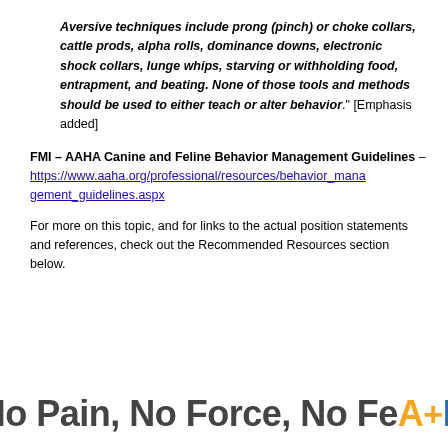Aversive techniques include prong (pinch) or choke collars, cattle prods, alpha rolls, dominance downs, electronic shock collars, lunge whips, starving or withholding food, entrapment, and beating. None of those tools and methods should be used to either teach or alter behavior." [Emphasis added]
FMI – AAHA Canine and Feline Behavior Management Guidelines – https://www.aaha.org/professional/resources/behavior_management_guidelines.aspx
For more on this topic, and for links to the actual position statements and references, check out the Recommended Resources section below.
No Pain, No Force, No FeAR